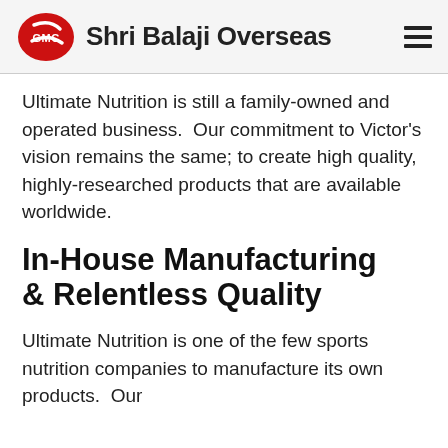Shri Balaji Overseas
Ultimate Nutrition is still a family-owned and operated business.  Our commitment to Victor’s vision remains the same; to create high quality, highly-researched products that are available worldwide.
In-House Manufacturing & Relentless Quality
Ultimate Nutrition is one of the few sports nutrition companies to manufacture its own products.  Our